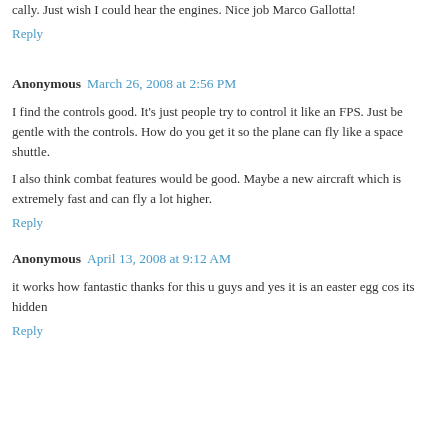cally. Just wish I could hear the engines. Nice job Marco Gallotta!
Reply
Anonymous  March 26, 2008 at 2:56 PM
I find the controls good. It's just people try to control it like an FPS. Just be gentle with the controls. How do you get it so the plane can fly like a space shuttle.
I also think combat features would be good. Maybe a new aircraft which is extremely fast and can fly a lot higher.
Reply
Anonymous  April 13, 2008 at 9:12 AM
it works how fantastic thanks for this u guys and yes it is an easter egg cos its hidden
Reply